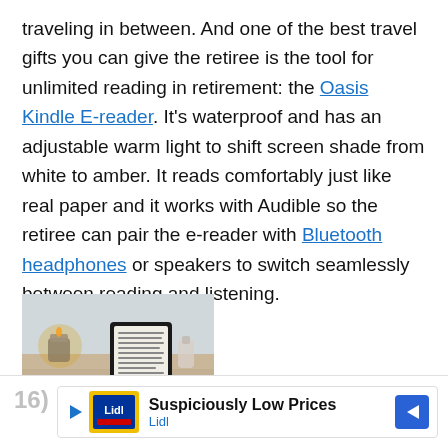traveling in between. And one of the best travel gifts you can give the retiree is the tool for unlimited reading in retirement: the Oasis Kindle E-reader. It's waterproof and has an adjustable warm light to shift screen shade from white to amber. It reads comfortably just like real paper and it works with Audible so the retiree can pair the e-reader with Bluetooth headphones or speakers to switch seamlessly between reading and listening.
[Figure (photo): A person reading a Kindle e-reader while relaxing in a bathtub, with candles and accessories on a bath tray in the background.]
16) Suspiciously Low Prices Lidl